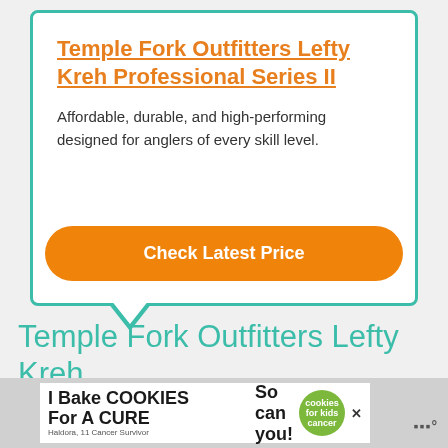Temple Fork Outfitters Lefty Kreh Professional Series II
Affordable, durable, and high-performing designed for anglers of every skill level.
Check Latest Price
Temple Fork Outfitters Lefty Kreh
[Figure (screenshot): Cookie bake advertisement banner at bottom of page]